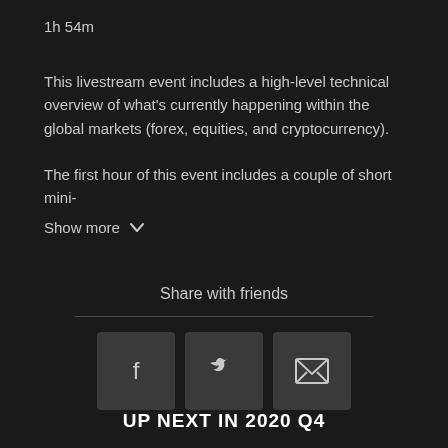1h 54m
This livestream event includes a high-level technical overview of what's currently happening within the global markets (forex, equities, and cryptocurrency).
The first hour of this event includes a couple of short mini-
Show more
Share with friends
UP NEXT IN 2020 Q4